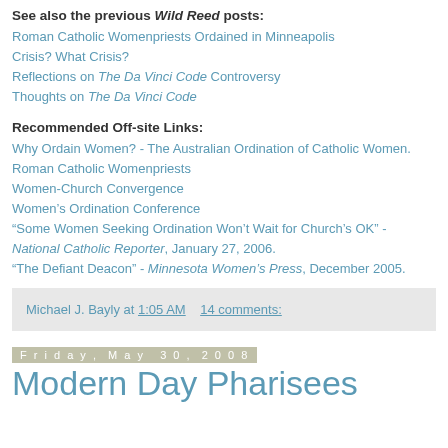See also the previous Wild Reed posts:
Roman Catholic Womenpriests Ordained in Minneapolis
Crisis? What Crisis?
Reflections on The Da Vinci Code Controversy
Thoughts on The Da Vinci Code
Recommended Off-site Links:
Why Ordain Women? - The Australian Ordination of Catholic Women.
Roman Catholic Womenpriests
Women-Church Convergence
Women's Ordination Conference
“Some Women Seeking Ordination Won’t Wait for Church’s OK” - National Catholic Reporter, January 27, 2006.
“The Defiant Deacon” - Minnesota Women’s Press, December 2005.
Michael J. Bayly at 1:05 AM     14 comments:
Friday, May 30, 2008
Modern Day Pharisees